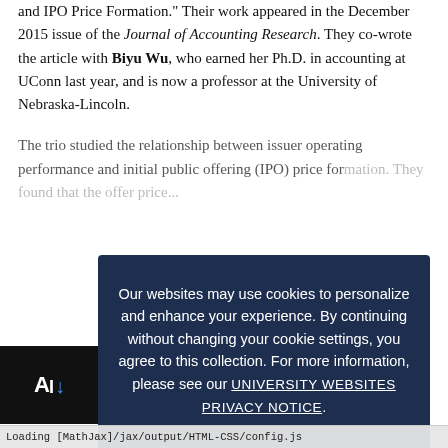and IPO Price Formation." Their work appeared in the December 2015 issue of the Journal of Accounting Research. They co-wrote the article with Biyu Wu, who earned her Ph.D. in accounting at UConn last year, and is now a professor at the University of Nebraska-Lincoln.
The trio studied the relationship between issuer operating performance and initial public offering (IPO) price formation. They found that the offer price...
[Figure (screenshot): Cookie consent modal overlay on a dark navy background reading: 'Our websites may use cookies to personalize and enhance your experience. By continuing without changing your cookie settings, you agree to this collection. For more information, please see our UNIVERSITY WEBSITES PRIVACY NOTICE.' with an OK button with checkmark.]